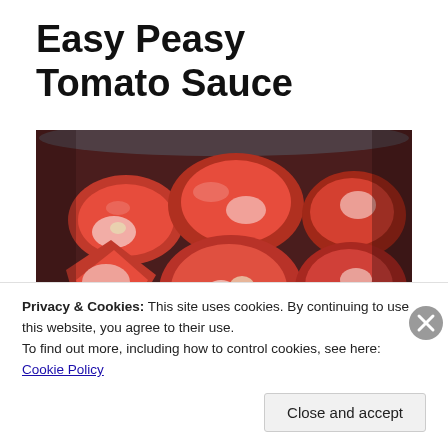Easy Peasy Tomato Sauce
[Figure (photo): A large pot or bowl filled with quartered and halved fresh red tomatoes, viewed from above, ready to be cooked into tomato sauce.]
Privacy & Cookies: This site uses cookies. By continuing to use this website, you agree to their use.
To find out more, including how to control cookies, see here: Cookie Policy
Close and accept